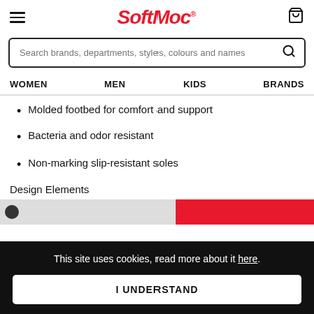SoftMoc
Search brands, departments, styles, colours and names
WOMEN   MEN   KIDS   BRANDS
Molded footbed for comfort and support
Bacteria and odor resistant
Non-marking slip-resistant soles
Design Elements
Adjustable Straps
This site uses cookies, read more about it here.
I UNDERSTAND